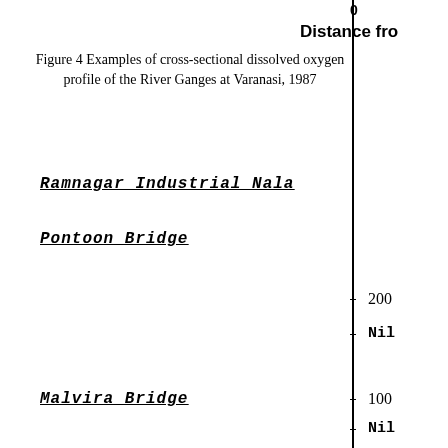0
200
Distance fro
Figure 4 Examples of cross-sectional dissolved oxygen profile of the River Ganges at Varanasi, 1987
Ramnagar Industrial Nala
Pontoon Bridge
200
Nil
Malvira Bridge
100
Nil